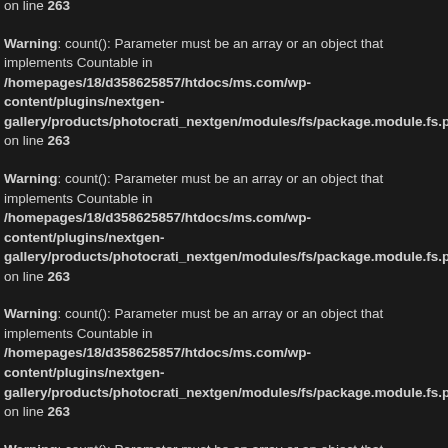on line 263
Warning: count(): Parameter must be an array or an object that implements Countable in /homepages/18/d358625857/htdocs/ms.com/wp-content/plugins/nextgen-gallery/products/photocrati_nextgen/modules/fs/package.module.fs.php on line 263
Warning: count(): Parameter must be an array or an object that implements Countable in /homepages/18/d358625857/htdocs/ms.com/wp-content/plugins/nextgen-gallery/products/photocrati_nextgen/modules/fs/package.module.fs.php on line 263
Warning: count(): Parameter must be an array or an object that implements Countable in /homepages/18/d358625857/htdocs/ms.com/wp-content/plugins/nextgen-gallery/products/photocrati_nextgen/modules/fs/package.module.fs.php on line 263
Warning: count(): Parameter must be an array or an object that implements Countable in /homepages/18/d358625857/htdocs/ms.com/wp-content/plugins/nextgen-gallery/products/photocrati_nextgen/modules/fs/package.module.fs.php on line 263